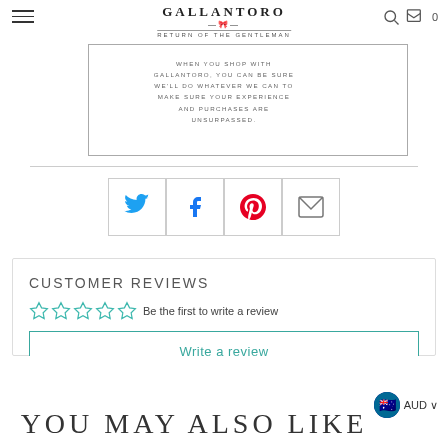GALLANTORO — RETURN OF THE GENTLEMAN
WHEN YOU SHOP WITH GALLANTORO, YOU CAN BE SURE WE'LL DO WHATEVER WE CAN TO MAKE SURE YOUR EXPERIENCE AND PURCHASES ARE UNSURPASSED.
[Figure (infographic): Social sharing buttons: Twitter, Facebook, Pinterest, Email]
CUSTOMER REVIEWS
☆☆☆☆☆ Be the first to write a review
Write a review
YOU MAY ALSO LIKE